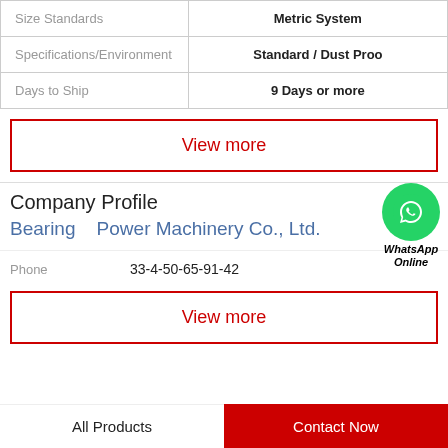|  |  |
| --- | --- |
| Size Standards | Metric System |
| Specifications/Environment | Standard / Dust Proo |
| Days to Ship | 9 Days or more |
View more
Company Profile
Bearing    Power Machinery Co., Ltd.
[Figure (logo): WhatsApp Online green circle icon with phone handset]
Phone   33-4-50-65-91-42
View more
All Products   Contact Now